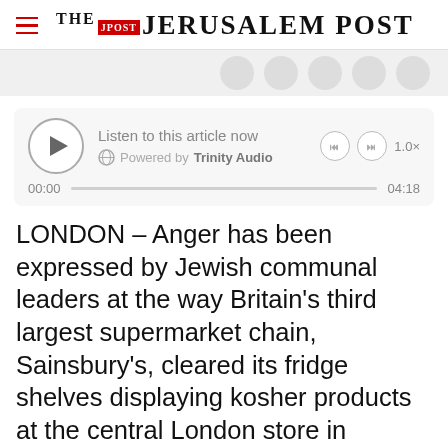THE JERUSALEM POST
[Figure (other): Audio player widget: play button, 'Listen to this article now', Powered by Trinity Audio, progress bar 00:00 to 04:18, speed 1.0x]
LONDON – Anger has been expressed by Jewish communal leaders at the way Britain's third largest supermarket chain, Sainsbury's, cleared its fridge shelves displaying kosher products at the central London store in Holborn when facing
Advertisement